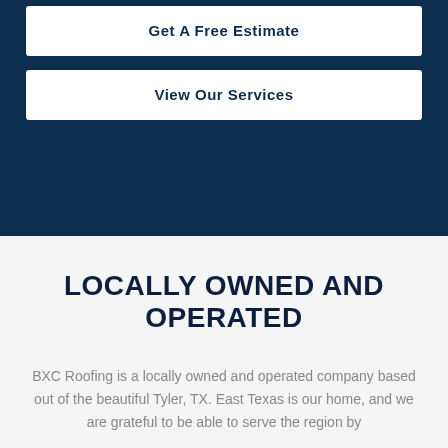Get A Free Estimate
View Our Services
LOCALLY OWNED AND OPERATED
BXC Roofing is a locally owned and operated company based out of the beautiful Tyler, TX. East Texas is our home, and we are grateful to be able to serve the region by